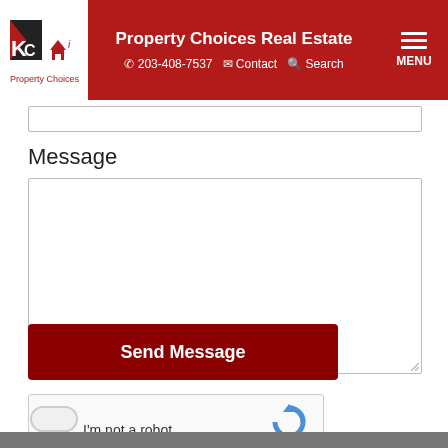Property Choices Real Estate | 203-408-7537 | Contact | Search | MENU
Message
[Figure (screenshot): Empty message textarea input field]
[Figure (screenshot): reCAPTCHA widget with checkbox 'I'm not a robot', reCAPTCHA logo, Privacy and Terms links]
[Figure (screenshot): Send Message button, dark red background]